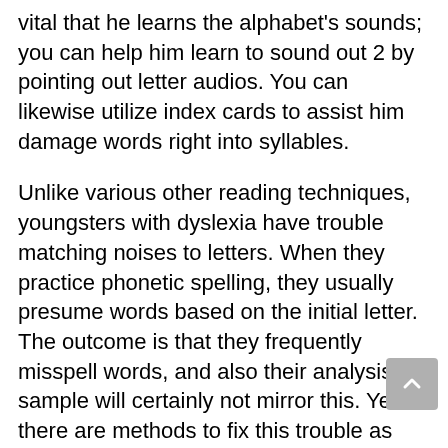vital that he learns the alphabet's sounds; you can help him learn to sound out 2 by pointing out letter audios. You can likewise utilize index cards to assist him damage words right into syllables.
Unlike various other reading techniques, youngsters with dyslexia have trouble matching noises to letters. When they practice phonetic spelling, they usually presume words based on the initial letter. The outcome is that they frequently misspell words, and also their analysis sample will certainly not mirror this. Yet there are methods to fix this trouble as well as gather phonemic understanding. The primary step is to identify if your youngster is having difficulty mixing